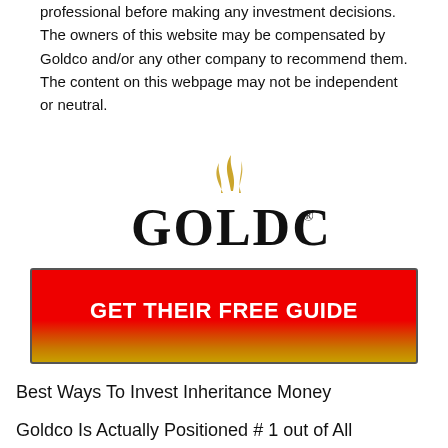professional before making any investment decisions. The owners of this website may be compensated by Goldco and/or any other company to recommend them. The content on this webpage may not be independent or neutral.
[Figure (logo): Goldco logo with golden flame/smoke graphic above the text 'GOLDCO' in large serif font with registered trademark symbol]
[Figure (infographic): Red CTA button with gradient from red to orange/gold at bottom, text 'GET THEIR FREE GUIDE' in bold white capital letters]
Best Ways To Invest Inheritance Money
Goldco Is Actually Positioned # 1 out of All